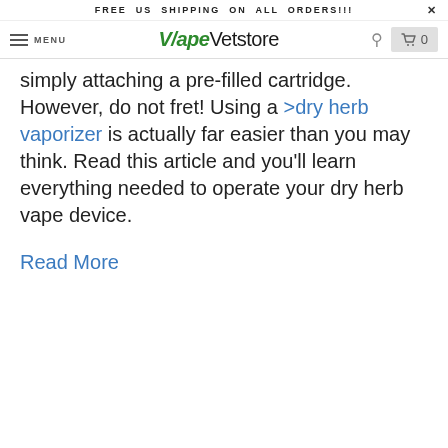FREE US SHIPPING ON ALL ORDERS!!!  X
MENU  VapeVetstore  0
simply attaching a pre-filled cartridge. However, do not fret! Using a >dry herb vaporizer is actually far easier than you may think. Read this article and you'll learn everything needed to operate your dry herb vape device.
Read More